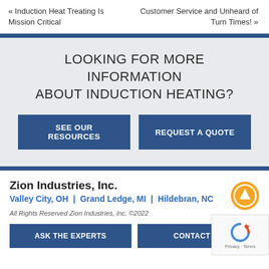« Induction Heat Treating Is Mission Critical
Customer Service and Unheard of Turn Times! »
LOOKING FOR MORE INFORMATION ABOUT INDUCTION HEATING?
SEE OUR RESOURCES
REQUEST A QUOTE
Zion Industries, Inc.
Valley City, OH | Grand Ledge, MI | Hildebran, NC
All Rights Reserved Zion Industries, Inc. ©2022
ASK THE EXPERTS
CONTACT US